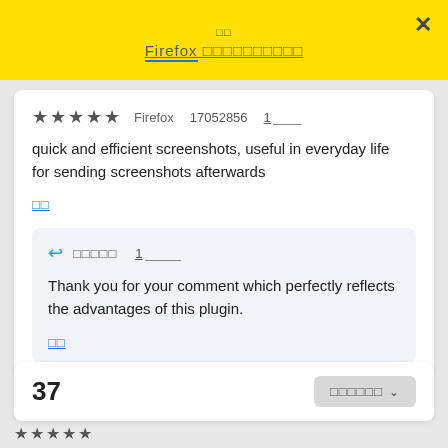□□ Firefox □□□□□□□□□□
★★★★★  Firefox  17052856  1____
quick and efficient screenshots, useful in everyday life for sending screenshots afterwards
□□
↩ □□□□□  1____ Thank you for your comment which perfectly reflects the advantages of this plugin. □□
37  □□□□□□ ∨
★★★★★  Firefox  □□□□□□□  □